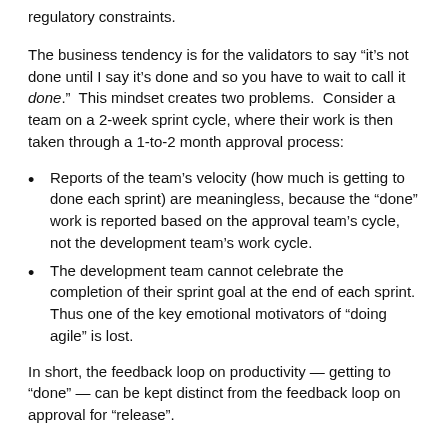regulatory constraints.
The business tendency is for the validators to say “it’s not done until I say it’s done and so you have to wait to call it done.”  This mindset creates two problems.  Consider a team on a 2-week sprint cycle, where their work is then taken through a 1-to-2 month approval process:
Reports of the team’s velocity (how much is getting to done each sprint) are meaningless, because the “done” work is reported based on the approval team’s cycle, not the development team’s work cycle.
The development team cannot celebrate the completion of their sprint goal at the end of each sprint.  Thus one of the key emotional motivators of “doing agile” is lost.
In short, the feedback loop on productivity — getting to “done” — can be kept distinct from the feedback loop on approval for “release”.